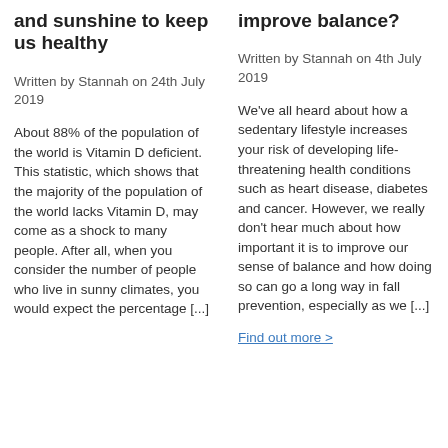and sunshine to keep us healthy
Written by Stannah on 24th July 2019
About 88% of the population of the world is Vitamin D deficient. This statistic, which shows that the majority of the population of the world lacks Vitamin D, may come as a shock to many people. After all, when you consider the number of people who live in sunny climates, you would expect the percentage [...]
improve balance?
Written by Stannah on 4th July 2019
We've all heard about how a sedentary lifestyle increases your risk of developing life-threatening health conditions such as heart disease, diabetes and cancer. However, we really don't hear much about how important it is to improve our sense of balance and how doing so can go a long way in fall prevention, especially as we [...]
Find out more >